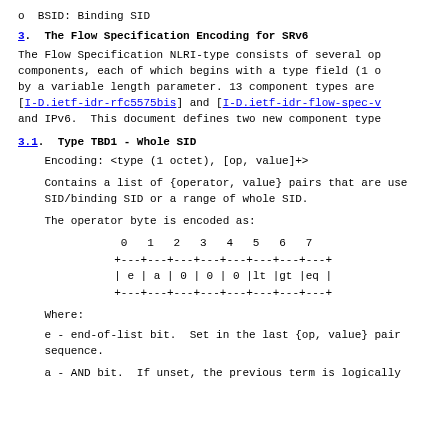o  BSID: Binding SID
3.  The Flow Specification Encoding for SRv6
The Flow Specification NLRI-type consists of several op components, each of which begins with a type field (1 o by a variable length parameter. 13 component types are [I-D.ietf-idr-rfc5575bis] and [I-D.ietf-idr-flow-spec-v and IPv6.  This document defines two new component type
3.1.  Type TBD1 - Whole SID
Encoding: <type (1 octet), [op, value]+>
Contains a list of {operator, value} pairs that are use SID/binding SID or a range of whole SID.
The operator byte is encoded as:
[Figure (schematic): Bit diagram showing operator byte fields: bits 0-7 labeled as e, a, 0, 0, 0, lt, gt, eq]
Where:
e - end-of-list bit.  Set in the last {op, value} pair sequence.
a - AND bit.  If unset, the previous term is logically